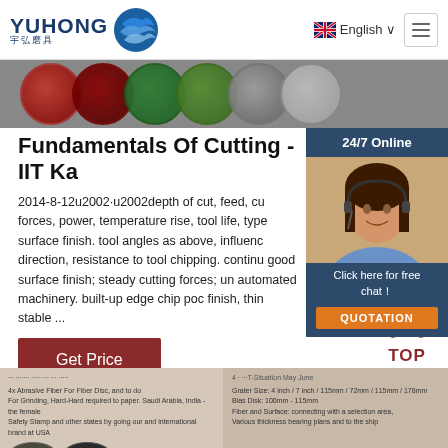[Figure (logo): Yuhong logo with blue wave icon and Chinese characters 宇弘磨具]
[Figure (screenshot): Website header with English language selector and hamburger menu]
[Figure (photo): Colorful abrasive disc products banner strip]
Fundamentals Of Cutting - IIT Ka
2014-8-12u2002·u2002depth of cut, feed, cu forces, power, temperature rise, tool life, type surface finish. tool angles as above, influenc direction, resistance to tool chipping. continu good surface finish; steady cutting forces; un automated machinery. built-up edge chip po finish, thin stable ...
[Figure (photo): Customer service representative wearing headset - live chat widget]
24/7 Online
Click here for free chat！
QUOTATION
[Figure (screenshot): Get Price button]
[Figure (infographic): TOP back-to-top button with orange dots icon]
[Figure (screenshot): Bottom page thumbnail strip with product listings and specifications]